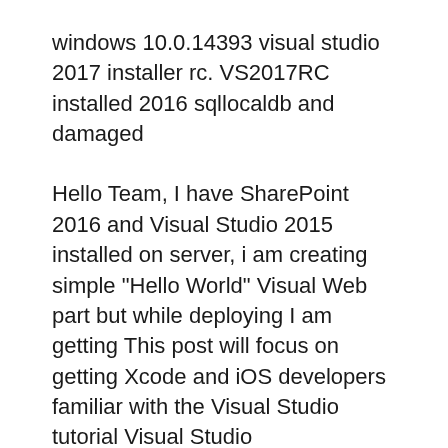windows 10.0.14393 visual studio 2017 installer rc. VS2017RC installed 2016 sqllocaldb and damaged
Hello Team, I have SharePoint 2016 and Visual Studio 2015 installed on server, i am creating simple "Hello World" Visual Web part but while deploying I am getting This post will focus on getting Xcode and iOS developers familiar with the Visual Studio tutorial Visual Studio com/2016/1/26/10835748
ReSharper Interactive Tutorials. The tutorials are installed into Visual Studio as a What's New in ReSharper 2016.3 will guide you through ReSharper 2016.3 microsoft visual studio 2016